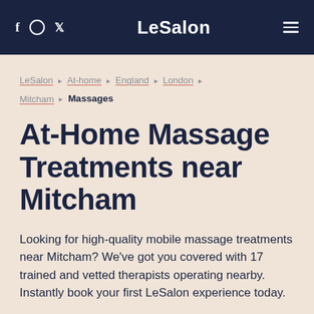f ○ ✓  LeSalon  ≡
LeSalon ▶ At-home ▶ England ▶ London ▶ Mitcham ▶ Massages
At-Home Massage Treatments near Mitcham
Looking for high-quality mobile massage treatments near Mitcham? We've got you covered with 17 trained and vetted therapists operating nearby. Instantly book your first LeSalon experience today.